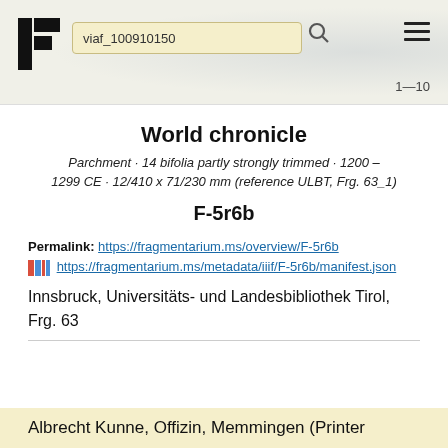[Figure (screenshot): Website header bar with Fragmentarium logo (black F-like icon), search box containing 'viaf_100910150', search icon, hamburger menu icon, and page indicator '1—10'. Background has faint map texture.]
World chronicle
Parchment · 14 bifolia partly strongly trimmed · 1200 – 1299 CE · 12/410 x 71/230 mm (reference ULBT, Frg. 63_1)
F-5r6b
Permalink: https://fragmentarium.ms/overview/F-5r6b
iiif https://fragmentarium.ms/metadata/iiif/F-5r6b/manifest.json
Innsbruck, Universitäts- und Landesbibliothek Tirol, Frg. 63
Albrecht Kunne, Offizin, Memmingen (Printer